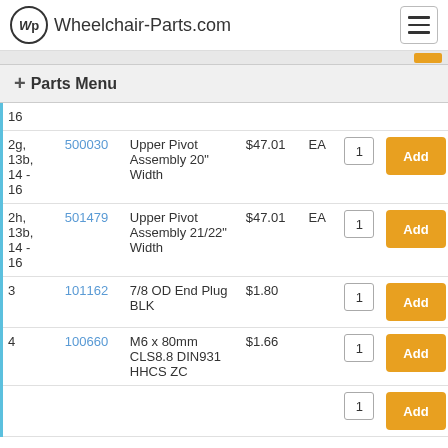Wheelchair-Parts.com
+ Parts Menu
| Ref | SKU | Description | Price | Unit | Qty |  |
| --- | --- | --- | --- | --- | --- | --- |
| 16 |  |  |  |  |  |  |
| 2g, 13b, 14 - 16 | 500030 | Upper Pivot Assembly 20" Width | $47.01 | EA | 1 | Add |
| 2h, 13b, 14 - 16 | 501479 | Upper Pivot Assembly 21/22" Width | $47.01 | EA | 1 | Add |
| 3 | 101162 | 7/8 OD End Plug BLK | $1.80 |  | 1 | Add |
| 4 | 100660 | M6 x 80mm CLS8.8 DIN931 HHCS ZC | $1.66 |  | 1 | Add |